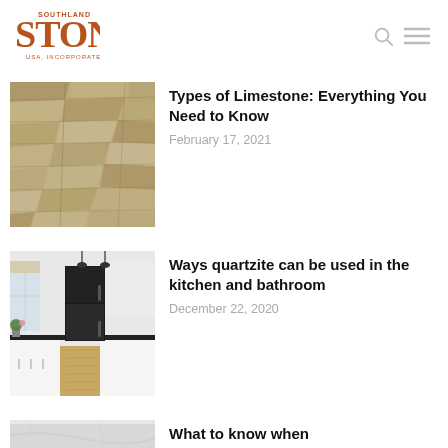[Figure (logo): Southland Stone USA, Incorporated logo in rust/brown color with large serif font]
[Figure (photo): Close-up of rough limestone stone wall texture in beige/tan tones]
Types of Limestone: Everything You Need to Know
February 17, 2021
[Figure (photo): Modern white kitchen interior with black refrigerator, wood floor, black countertops, and pendant lights]
Ways quartzite can be used in the kitchen and bathroom
December 22, 2020
[Figure (photo): Partial view of a light gray/white stone or marble surface]
What to know when